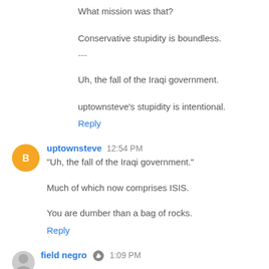What mission was that?
Conservative stupidity is boundless.
---
Uh, the fall of the Iraqi government.
uptownsteve's stupidity is intentional.
Reply
uptownsteve  12:54 PM
"Uh, the fall of the Iraqi government."
Much of which now comprises ISIS.
You are dumber than a bag of rocks.
Reply
field negro  1:09 PM